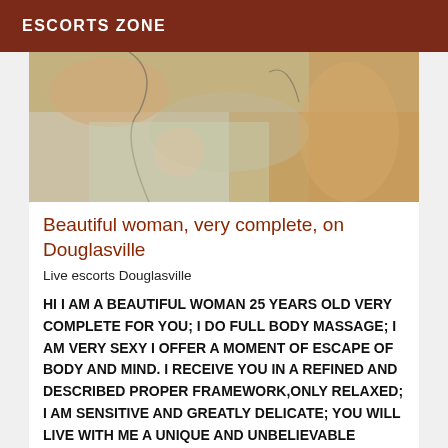ESCORTS ZONE
[Figure (photo): Partial photo of a person on a bed with floral bedding, shown from behind/side, cropped.]
Beautiful woman, very complete, on Douglasville
Live escorts Douglasville
HI I AM A BEAUTIFUL WOMAN 25 YEARS OLD VERY COMPLETE FOR YOU; I DO FULL BODY MASSAGE; I AM VERY SEXY I OFFER A MOMENT OF ESCAPE OF BODY AND MIND. I RECEIVE YOU IN A REFINED AND DESCRIBED PROPER FRAMEWORK,ONLY RELAXED; I AM SENSITIVE AND GREATLY DELICATE; YOU WILL LIVE WITH ME A UNIQUE AND UNBELIEVABLE EXPERIENCE.CALL ME FOR MORE.